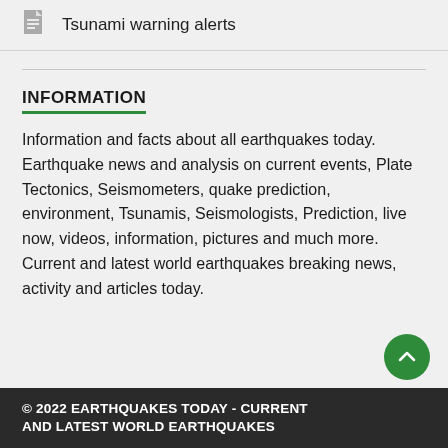Tsunami warning alerts
INFORMATION
Information and facts about all earthquakes today. Earthquake news and analysis on current events, Plate Tectonics, Seismometers, quake prediction, environment, Tsunamis, Seismologists, Prediction, live now, videos, information, pictures and much more. Current and latest world earthquakes breaking news, activity and articles today.
© 2022 EARTHQUAKES TODAY - CURRENT AND LATEST WORLD EARTHQUAKES